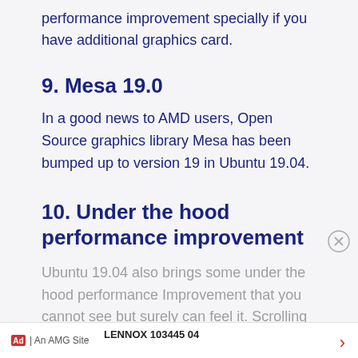performance improvement specially if you have additional graphics card.
9. Mesa 19.0
In a good news to AMD users, Open Source graphics library Mesa has been bumped up to version 19 in Ubuntu 19.04.
10. Under the hood performance improvement
Ubuntu 19.04 also brings some under the hood performance improvement that you cannot see but surely can feel it. Scrolling and window
LENNOX 103445 04
Ad | An AMG Site